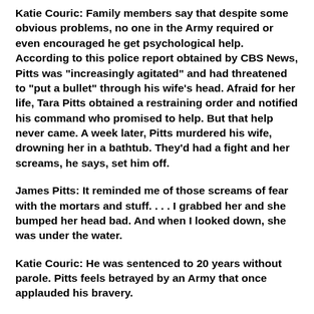Katie Couric: Family members say that despite some obvious problems, no one in the Army required or even encouraged he get psychological help. According to this police report obtained by CBS News, Pitts was "increasingly agitated" and had threatened to "put a bullet" through his wife's head. Afraid for her life, Tara Pitts obtained a restraining order and notified his command who promised to help. But that help never came. A week later, Pitts murdered his wife, drowning her in a bathtub. They'd had a fight and her screams, he says, set him off.
James Pitts: It reminded me of those screams of fear with the mortars and stuff. . . . I grabbed her and she bumped her head bad. And when I looked down, she was under the water.
Katie Couric: He was sentenced to 20 years without parole. Pitts feels betrayed by an Army that once applauded his bravery.